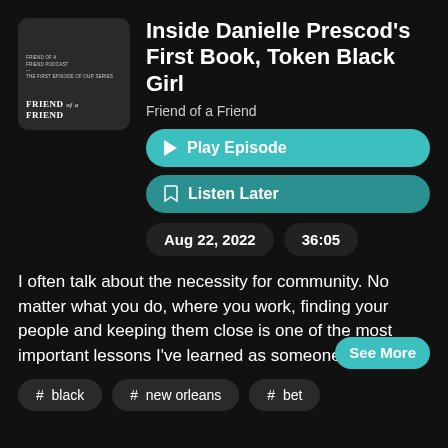[Figure (illustration): Podcast cover art for 'Friend of a Friend' — dark background with small text at top and bold title text at bottom]
Inside Danielle Prescod's First Book, Token Black Girl
Friend of a Friend
▶ Play Episode
Listen Later
Aug 22, 2022
36:05
I often talk about the necessity for community. No matter what you do, where you work, finding your people and keeping them close is one of the most important lessons I've learned as someone in the
See More
# black
# new orleans
# bet